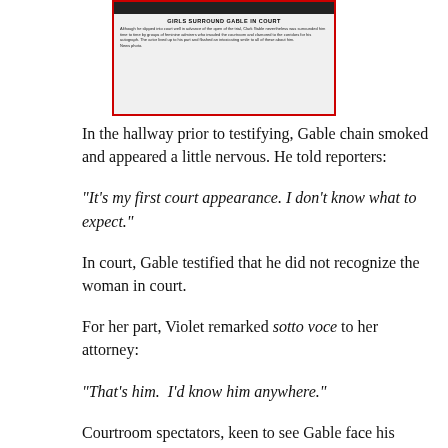[Figure (photo): Newspaper clipping showing Clark Gable surrounded by girls in court. Headline reads 'GIRLS SURROUND GABLE IN COURT' with a caption describing the scene.]
In the hallway prior to testifying, Gable chain smoked and appeared a little nervous. He told reporters:
“It’s my first court appearance. I don’t know what to expect.”
In court, Gable testified that he did not recognize the woman in court.
For her part, Violet remarked sotto voce to her attorney:
“That’s him.  I’d know him anywhere.”
Courtroom spectators, keen to see Gable face his alleged progeny, were disappointed when he wasn’t required to appear during her testimony.
Judge Cosgrave wasn’t well-pleased that Gwendolyn was